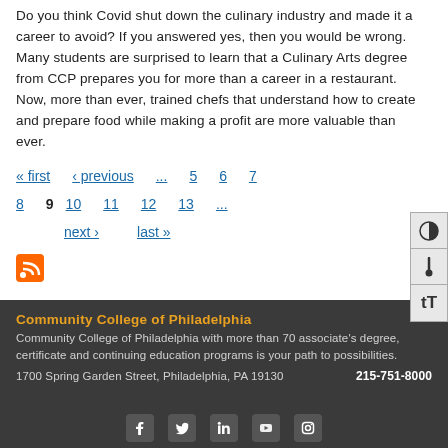Do you think Covid shut down the culinary industry and made it a career to avoid? If you answered yes, then you would be wrong. Many students are surprised to learn that a Culinary Arts degree from CCP prepares you for more than a career in a restaurant. Now, more than ever, trained chefs that understand how to create and prepare food while making a profit are more valuable than ever.
« first ‹ previous ... 5 6 7 8 9 10 11 12 13 ... next › last »
[Figure (other): RSS feed icon (orange square with white radio wave symbol)]
Community College of Philadelphia
Community College of Philadelphia with more than 70 associate's degree, certificate and continuing education programs is your path to possibilities.
1700 Spring Garden Street, Philadelphia, PA 19130     215-751-8000
[Figure (other): Social media icons row: Facebook, Twitter, LinkedIn, YouTube, Instagram]